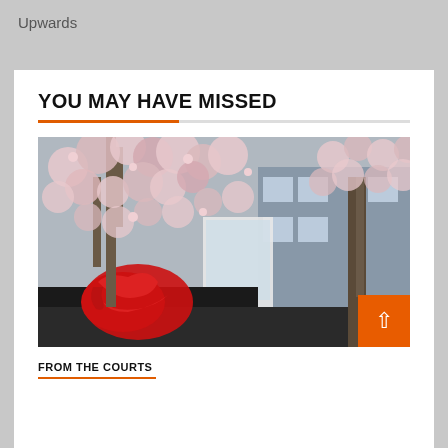Upwards
YOU MAY HAVE MISSED
[Figure (photo): Cherry blossom tree in foreground with a university building behind it, featuring a red dragon logo on a black wall in the lower left]
FROM THE COURTS